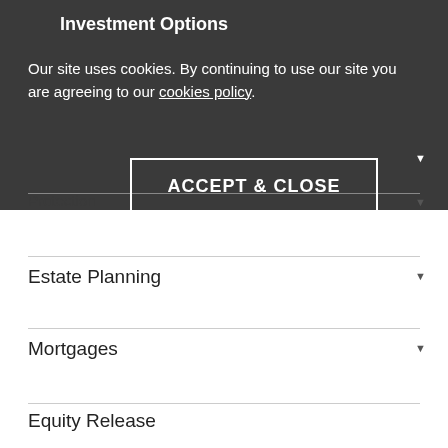Investment Options
Our site uses cookies. By continuing to use our site you are agreeing to our cookies policy.
ACCEPT & CLOSE
Protection
Estate Planning
Mortgages
Equity Release